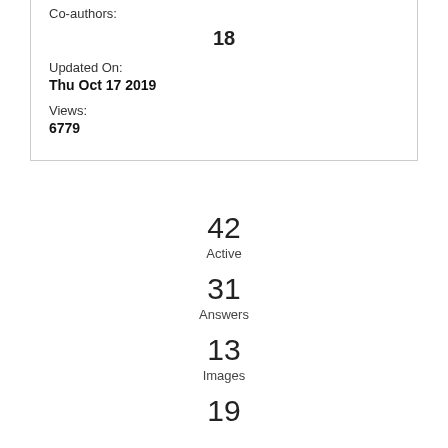Co-authors:
18
Updated On:
Thu Oct 17 2019
Views:
6779
42
Active
31
Answers
13
Images
19